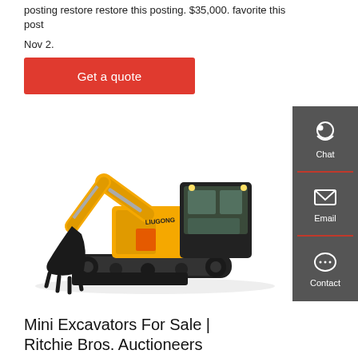posting restore restore this posting. $35,000. favorite this post
Nov 2.
Get a quote
[Figure (photo): Yellow and black LiuGong mini excavator with tracks and bucket arm, shown on white background]
Mini Excavators For Sale | Ritchie Bros. Auctioneers